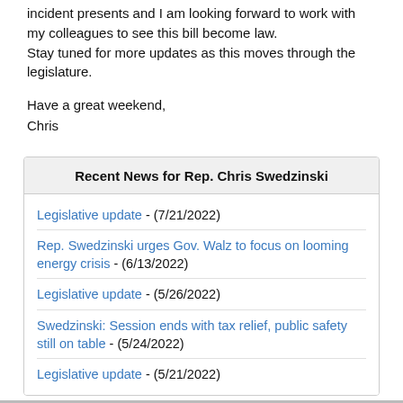incident presents and I am looking forward to work with my colleagues to see this bill become law.
Stay tuned for more updates as this moves through the legislature.
Have a great weekend,
Chris
| Recent News for Rep. Chris Swedzinski |
| --- |
| Legislative update - (7/21/2022) |
| Rep. Swedzinski urges Gov. Walz to focus on looming energy crisis - (6/13/2022) |
| Legislative update - (5/26/2022) |
| Swedzinski: Session ends with tax relief, public safety still on table - (5/24/2022) |
| Legislative update - (5/21/2022) |